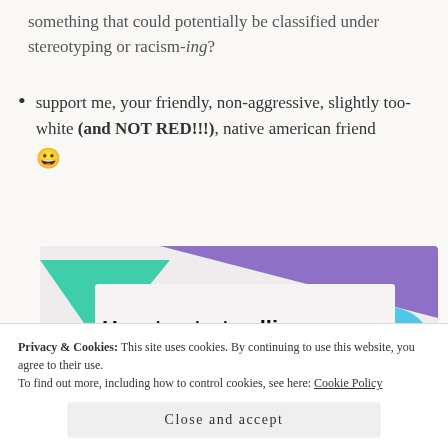something that could potentially be classified under stereotyping or racism-ing?
support me, your friendly, non-aggressive, slightly too-white (and NOT RED!!!), native american friend 😀
[Figure (screenshot): Promotional banner with geometric shapes in purple, green/teal, and blue on a light grey background. Bold text reads 'How to start selling subscriptions online' with a partial purple button visible at the bottom.]
Privacy & Cookies: This site uses cookies. By continuing to use this website, you agree to their use.
To find out more, including how to control cookies, see here: Cookie Policy
Close and accept